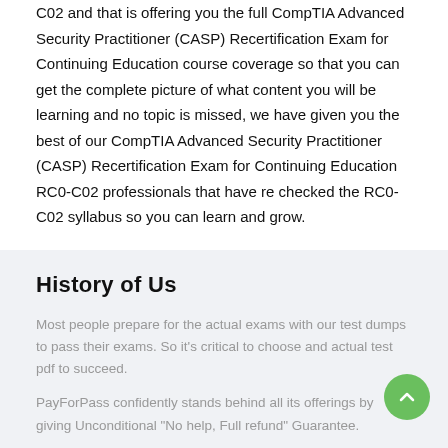C02 and that is offering you the full CompTIA Advanced Security Practitioner (CASP) Recertification Exam for Continuing Education course coverage so that you can get the complete picture of what content you will be learning and no topic is missed, we have given you the best of our CompTIA Advanced Security Practitioner (CASP) Recertification Exam for Continuing Education RC0-C02 professionals that have re checked the RC0-C02 syllabus so you can learn and grow.
History of Us
Most people prepare for the actual exams with our test dumps to pass their exams. So it's critical to choose and actual test pdf to succeed.
PayForPass confidently stands behind all its offerings by giving Unconditional "No help, Full refund" Guarantee.